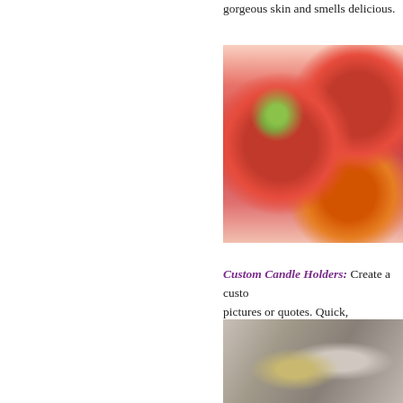gorgeous skin and smells delicious.
[Figure (photo): Jars of pink/red strawberry sugar scrub with fresh strawberries arranged around them]
Custom Candle Holders: Create a custom... pictures or quotes. Quick, inexpensive, an...
[Figure (photo): Glass candle holders with lit candles, decorative background]